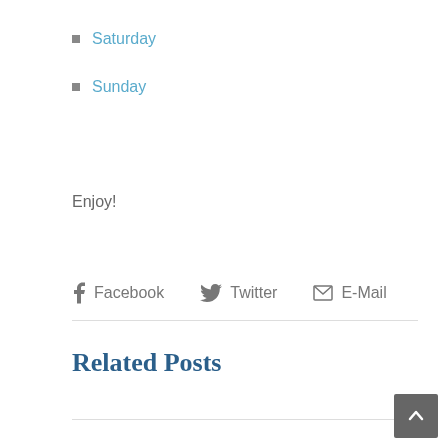Saturday
Sunday
Enjoy!
Facebook  Twitter  E-Mail
Related Posts